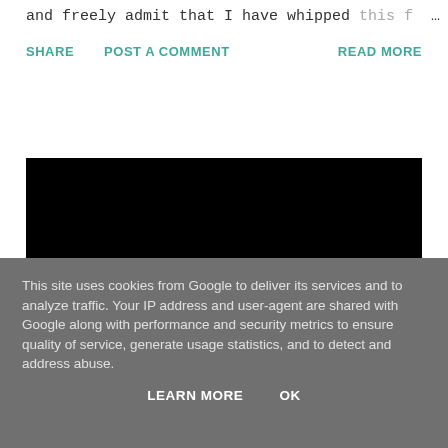and freely admit that I have whipped this f…  …
SHARE   POST A COMMENT   READ MORE
[Figure (other): Black rectangle, likely a video embed placeholder]
This site uses cookies from Google to deliver its services and to analyze traffic. Your IP address and user-agent are shared with Google along with performance and security metrics to ensure quality of service, generate usage statistics, and to detect and address abuse.
LEARN MORE   OK